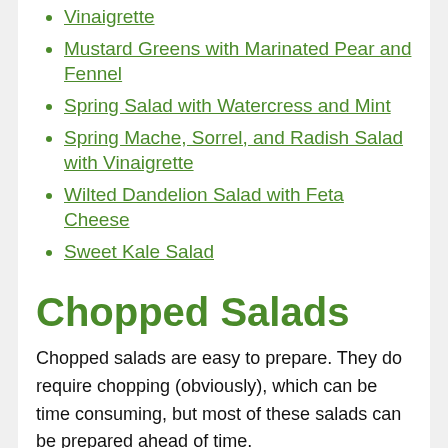Vinaigrette
Mustard Greens with Marinated Pear and Fennel
Spring Salad with Watercress and Mint
Spring Mache, Sorrel, and Radish Salad with Vinaigrette
Wilted Dandelion Salad with Feta Cheese
Sweet Kale Salad
Chopped Salads
Chopped salads are easy to prepare. They do require chopping (obviously), which can be time consuming, but most of these salads can be prepared ahead of time.
Make fresh crisp salads by choosing a variety of